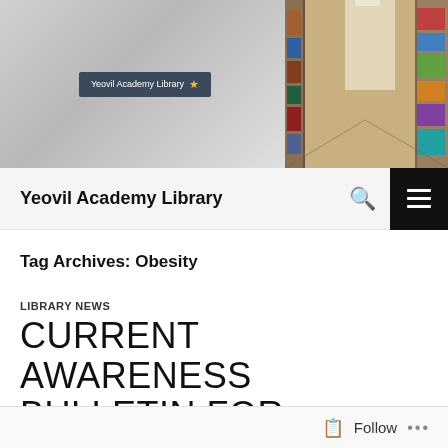[Figure (photo): Header photo strip showing two images: left side shows a gray wall with a dark 'Yeovil Academy Library' sign with a star logo; right side shows a library aisle with bookshelves filled with books]
Yeovil Academy Library
Tag Archives: Obesity
LIBRARY NEWS
CURRENT AWARENESS BULLETIN FOR OBESITY – JULY EDITION
Follow